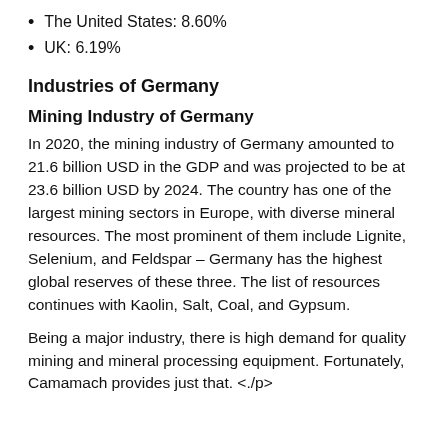The United States: 8.60%
UK: 6.19%
Industries of Germany
Mining Industry of Germany
In 2020, the mining industry of Germany amounted to 21.6 billion USD in the GDP and was projected to be at 23.6 billion USD by 2024. The country has one of the largest mining sectors in Europe, with diverse mineral resources. The most prominent of them include Lignite, Selenium, and Feldspar – Germany has the highest global reserves of these three. The list of resources continues with Kaolin, Salt, Coal, and Gypsum.
Being a major industry, there is high demand for quality mining and mineral processing equipment. Fortunately, Camamach provides just that. <./p>